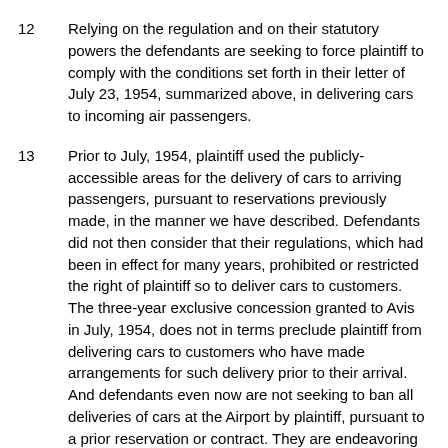12	Relying on the regulation and on their statutory powers the defendants are seeking to force plaintiff to comply with the conditions set forth in their letter of July 23, 1954, summarized above, in delivering cars to incoming air passengers.
13	Prior to July, 1954, plaintiff used the publicly-accessible areas for the delivery of cars to arriving passengers, pursuant to reservations previously made, in the manner we have described. Defendants did not then consider that their regulations, which had been in effect for many years, prohibited or restricted the right of plaintiff so to deliver cars to customers. The three-year exclusive concession granted to Avis in July, 1954, does not in terms preclude plaintiff from delivering cars to customers who have made arrangements for such delivery prior to their arrival. And defendants even now are not seeking to ban all deliveries of cars at the Airport by plaintiff, pursuant to a prior reservation or contract. They are endeavoring to do so only where the delivery involves the execution of any document or receipt or the payment of a deposit. Where a paper is to be signed or money is to be paid, both passenger and plaintiff's employee must, under defendants' proposed conditions, leave the Airport property to effect delivery of the car. Such conditions plainly make it difficult, if not